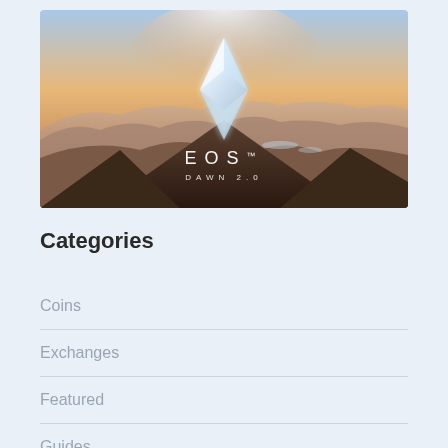[Figure (photo): EOS Dawn 2.0 promotional image showing a glowing crystal/diamond shape over a mountain sunset landscape with the text 'EOS™ DAWN 2.0']
Categories
Coins
Exchanges
Featured
Guides